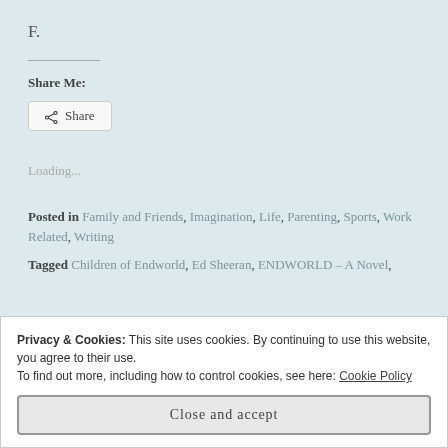F.
Share Me:
[Figure (other): Share button with share icon]
Loading...
Posted in Family and Friends, Imagination, Life, Parenting, Sports, Work Related, Writing
Tagged Children of Endworld, Ed Sheeran, ENDWORLD - A Novel,
Privacy & Cookies: This site uses cookies. By continuing to use this website, you agree to their use. To find out more, including how to control cookies, see here: Cookie Policy
Close and accept